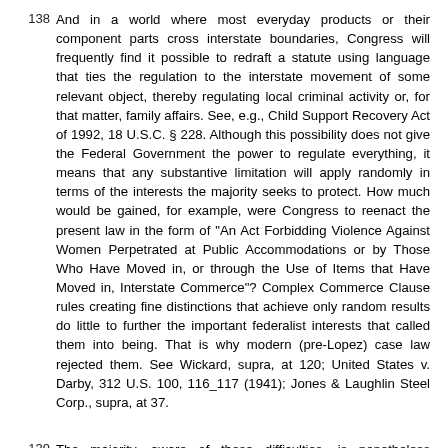138 And in a world where most everyday products or their component parts cross interstate boundaries, Congress will frequently find it possible to redraft a statute using language that ties the regulation to the interstate movement of some relevant object, thereby regulating local criminal activity or, for that matter, family affairs. See, e.g., Child Support Recovery Act of 1992, 18 U.S.C. § 228. Although this possibility does not give the Federal Government the power to regulate everything, it means that any substantive limitation will apply randomly in terms of the interests the majority seeks to protect. How much would be gained, for example, were Congress to reenact the present law in the form of "An Act Forbidding Violence Against Women Perpetrated at Public Accommodations or by Those Who Have Moved in, or through the Use of Items that Have Moved in, Interstate Commerce"? Complex Commerce Clause rules creating fine distinctions that achieve only random results do little to further the important federalist interests that called them into being. That is why modern (pre-Lopez) case law rejected them. See Wickard, supra, at 120; United States v. Darby, 312 U.S. 100, 116_117 (1941); Jones & Laughlin Steel Corp., supra, at 37.
139 The majority, aware of these difficulties, is nonetheless concerned with what it sees as an important contrary consideration. To determine the lawfulness of statutes simply by asking whether the relevant activity, in the aggregate, substantially affects interstate commerce would, the majority fears, grant Congress the power to regulate almost anything.